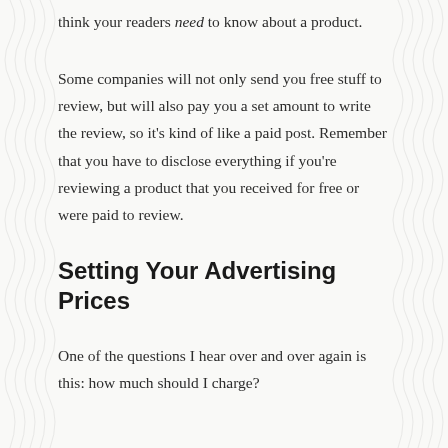think your readers need to know about a product.
Some companies will not only send you free stuff to review, but will also pay you a set amount to write the review, so it's kind of like a paid post. Remember that you have to disclose everything if you're reviewing a product that you received for free or were paid to review.
Setting Your Advertising Prices
One of the questions I hear over and over again is this: how much should I charge?